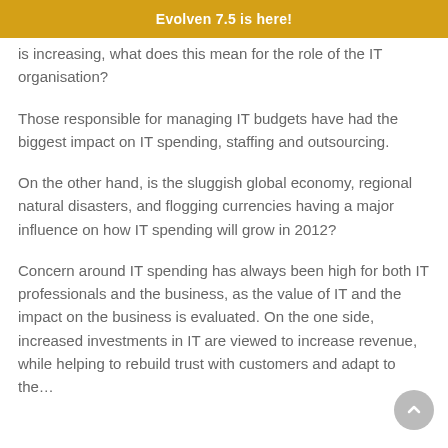Evolven 7.5 is here!
is increasing, what does this mean for the role of the IT organisation?
Those responsible for managing IT budgets have had the biggest impact on IT spending, staffing and outsourcing.
On the other hand, is the sluggish global economy, regional natural disasters, and flogging currencies having a major influence on how IT spending will grow in 2012?
Concern around IT spending has always been high for both IT professionals and the business, as the value of IT and the impact on the business is evaluated. On the one side, increased investments in IT are viewed to increase revenue, while helping to rebuild trust with customers and adapt to the…